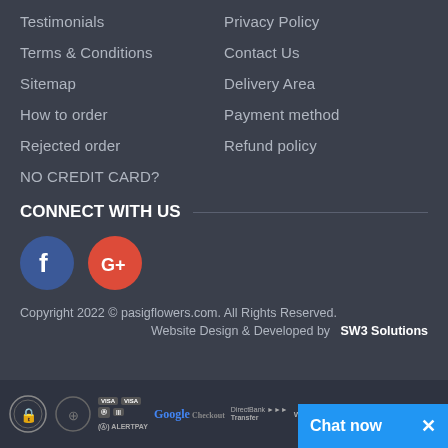Testimonials
Privacy Policy
Terms & Conditions
Contact Us
Sitemap
Delivery Area
How to order
Payment method
Rejected order
Refund policy
NO CREDIT CARD?
CONNECT WITH US
[Figure (logo): Facebook circle icon (blue background with white f)]
[Figure (logo): Google+ circle icon (red/orange background with white G+)]
Copyright 2022 © pasigflowers.com. All Rights Reserved.
Website Design & Developed by   SW3 Solutions
[Figure (infographic): Payment method logos: lock icon, credit card badges (VISA etc), AlertPay, Google Checkout, DirectBank Transfer, Western Union, and other payment icons. Chat now button overlay.]